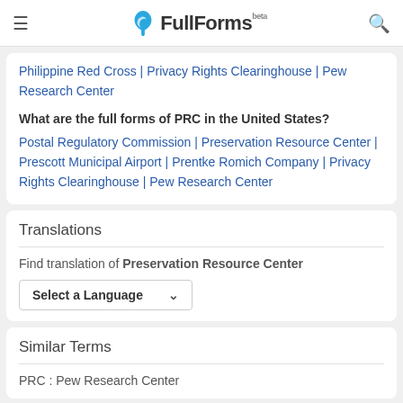FullForms (beta)
Philippine Red Cross | Privacy Rights Clearinghouse | Pew Research Center
What are the full forms of PRC in the United States?
Postal Regulatory Commission | Preservation Resource Center | Prescott Municipal Airport | Prentke Romich Company | Privacy Rights Clearinghouse | Pew Research Center
Translations
Find translation of Preservation Resource Center
Select a Language
Similar Terms
PRC : Pew Research Center